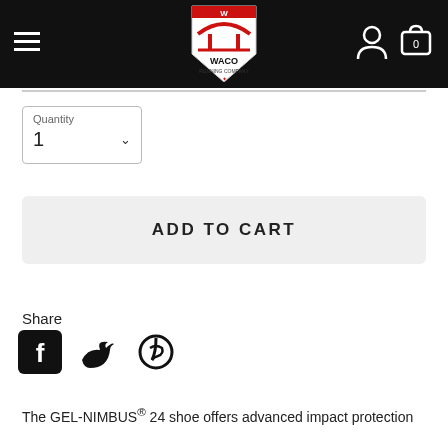Waco Running Company – navigation header with hamburger menu, logo, user icon, and cart
Quantity
1
ADD TO CART
Share
[Figure (illustration): Social media share icons: Facebook, Twitter, Pinterest]
The GEL-NIMBUS® 24 shoe offers advanced impact protection